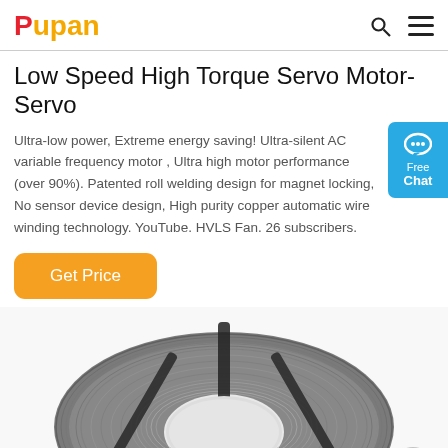Pupan
Low Speed High Torque Servo Motor- Servo
Ultra-low power, Extreme energy saving! Ultra-silent AC variable frequency motor , Ultra high motor performance (over 90%). Patented roll welding design for magnet locking, No sensor device design, High purity copper automatic wire winding technology. YouTube. HVLS Fan. 26 subscribers.
[Figure (other): Free Chat widget button in blue]
[Figure (other): Orange 'Get Price' button]
[Figure (photo): Coiled metal wire/cable product photo on white background]